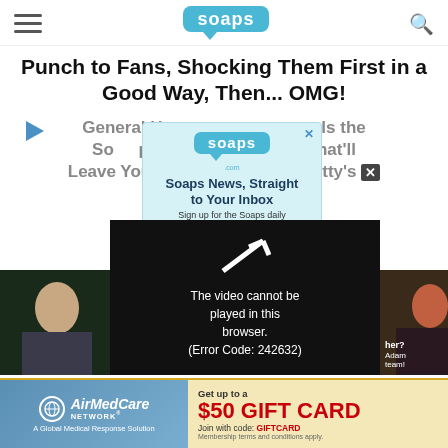soaps (logo header with hamburger menu and search icon)
Punch to Fans, Shocking Them First in a Good Way, Then... OMG!
General H... reveals the So p-St... t That'll Leave You... ve Scotty's
[Figure (screenshot): Newsletter signup modal overlay on soaps.com with teal background, Soaps logo, 'Soaps News, Straight to Your Inbox' heading, 'Sign up for the Soaps daily newsletter today.' subtext, email input field, and subscribe button]
[Figure (screenshot): Video player overlay showing error message: 'The video cannot be played in this browser. (Error Code: 242632)' on black background with white arrow/play icon]
[Figure (photo): Thumbnail strip with TV show scenes from General Hospital]
[Figure (screenshot): AirMedCare Network advertisement banner: 'Get up to a $50 GIFT CARD, Join with code: GIFTCARD, Membership terms and conditions apply.']